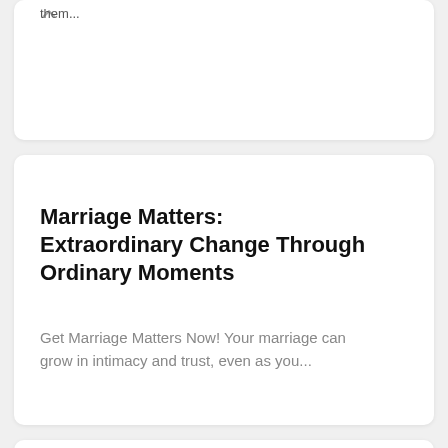them...
Marriage Matters: Extraordinary Change Through Ordinary Moments
Get Marriage Matters Now! Your marriage can grow in intimacy and trust, even as you...